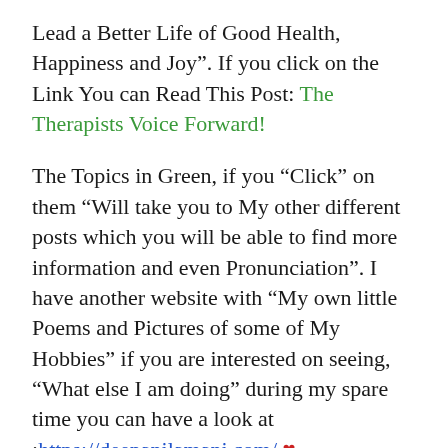Lead a Better Life of Good Health, Happiness and Joy". If you click on the Link You can Read This Post: The Therapists Voice Forward!
The Topics in Green, if you “Click” on them “Will take you to My other different posts which you will be able to find more information and even Pronunciation”. I have another website with “My own little Poems and Pictures of some of My Hobbies” if you are interested on seeing, “What else I am doing” during my spare time you can have a look at :https://deepanilamani.com/ ❤
It is all free”. You can share and pass it on also for others who can benefit from this post. I hope All those who Read will be able to make the maximum use of all these facts and make, “Your Lives More Healthy and able to Lead Better lives in Happiness